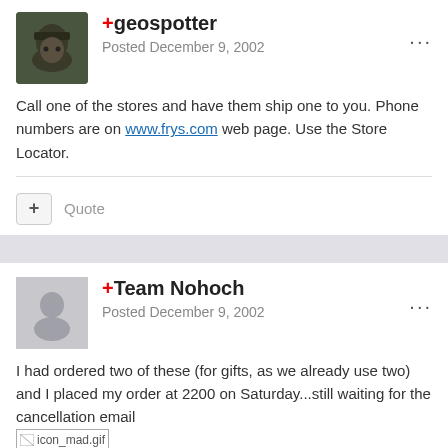[Figure (photo): Avatar image of geospotter user with dark hat]
+geospotter
Posted December 9, 2002
Call one of the stores and have them ship one to you. Phone numbers are on www.frys.com web page. Use the Store Locator.
Quote
[Figure (photo): Avatar image placeholder for Team Nohoch (gray silhouette)]
+Team Nohoch
Posted December 9, 2002
I had ordered two of these (for gifts, as we already use two) and I placed my order at 2200 on Saturday...still waiting for the cancellation email [icon_mad.gif]
I wonder if this ad was a misprint, as in should have been $199.00 and someone finally caught it?